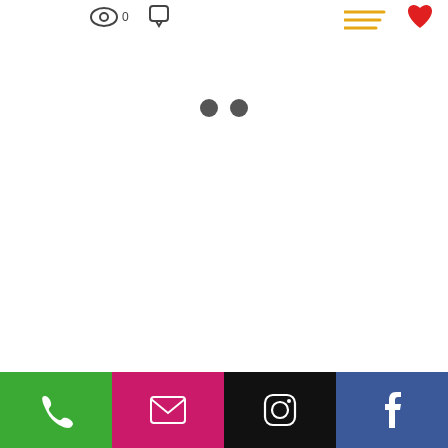[Figure (screenshot): UI top bar with eye icon showing 0 views, comment icon, hamburger menu with orange lines, and red heart icon]
[Figure (infographic): Two dark grey dots side by side in the center of the page, indicating a loading or pagination indicator]
[Figure (infographic): Bottom navigation bar with four colored buttons: green phone, magenta email, black Instagram, blue Facebook icons]